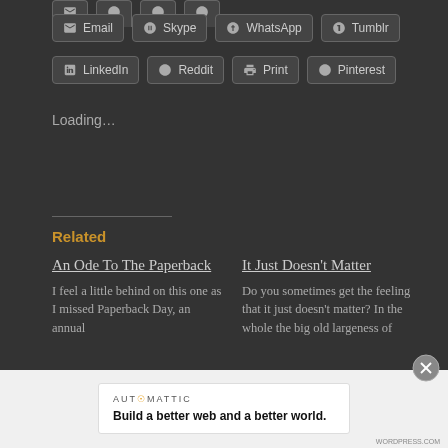Email
Skype
WhatsApp
Tumblr
LinkedIn
Reddit
Print
Pinterest
Loading...
Related
An Ode To The Paperback
I feel a little behind on this one as I missed Paperback Day, an annual
It Just Doesn't Matter
Do you sometimes get the feeling that it just doesn't matter? In the whole the big old largeness of
AUTOMATTIC
Build a better web and a better world.